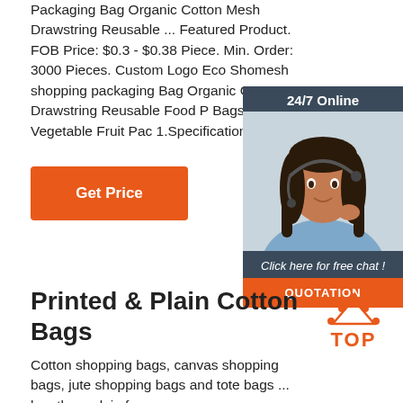Packaging Bag Organic Cotton Mesh Drawstring Reusable ... Featured Product. FOB Price: $0.3 - $0.38 Piece. Min. Order: 3000 Pieces. Custom Logo Eco Shomesh shopping packaging Bag Organic Cotton Mesh Drawstring Reusable Food Produce Bags for Vegetable Fruit Packaging 1.Specification 2.
[Figure (other): 24/7 Online chat widget with customer service representative photo, 'Click here for free chat!' text, and QUOTATION button]
Get Price
Printed & Plain Cotton Bags
[Figure (other): TOP badge icon with orange dots forming triangle above orange TOP text]
Cotton shopping bags, canvas shopping bags, jute shopping bags and tote bags ... buy them plain from